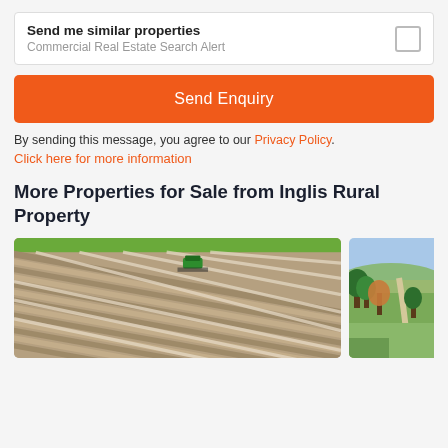Send me similar properties
Commercial Real Estate Search Alert
Send Enquiry
By sending this message, you agree to our Privacy Policy.
Click here for more information
More Properties for Sale from Inglis Rural Property
[Figure (photo): Aerial view of a farm field with a green tractor/harvester creating rows in brown soil]
[Figure (photo): Aerial view of a rural property with trees, green fields, and a winding road]